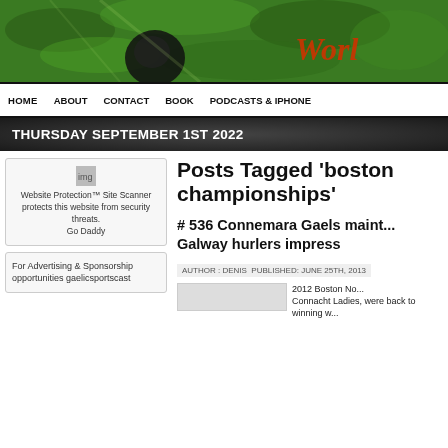[Figure (photo): Header banner showing green grass/hedge background with a dark ball/helmet object and partial cursive text 'Worl...' in red/orange on the right side]
HOME   ABOUT   CONTACT   BOOK   PODCASTS & IPHONE
THURSDAY SEPTEMBER 1ST 2022
[Figure (other): Website Protection™ Site Scanner protects this website from security threats. Go Daddy]
For Advertising & Sponsorship opportunities gaelicsportscast
Posts Tagged 'boston championships'
# 536 Connemara Gaels maint... Galway hurlers impress
AUTHOR : DENIS PUBLISHED: JUNE 25TH, 2013
2012 Boston No... Connacht Ladies, were back to winning w...